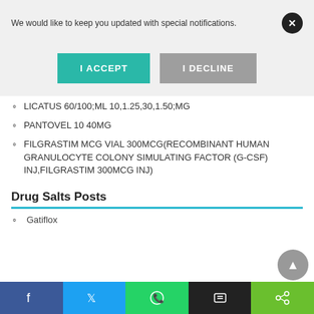We would like to keep you updated with special notifications.
I ACCEPT
I DECLINE
LICATUS 60/100;ML 10,1.25,30,1.50;MG
PANTOVEL 10 40MG
FILGRASTIM MCG VIAL 300MCG(RECOMBINANT HUMAN GRANULOCYTE COLONY SIMULATING FACTOR (G-CSF) INJ,FILGRASTIM 300MCG INJ)
Drug Salts Posts
Gatiflox